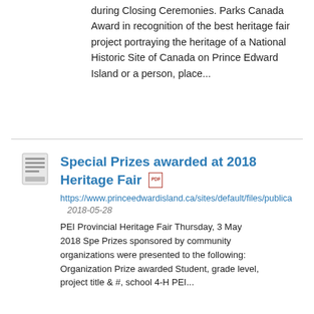during Closing Ceremonies. Parks Canada Award in recognition of the best heritage fair project portraying the heritage of a National Historic Site of Canada on Prince Edward Island or a person, place...
Special Prizes awarded at 2018 Heritage Fair
https://www.princeedwardisland.ca/sites/default/files/publica
2018-05-28
PEI Provincial Heritage Fair Thursday, 3 May 2018 Spe Prizes sponsored by community organizations were presented to the following: Organization Prize awarded Student, grade level, project title & #, school 4-H PEI...
Artist Grants program Report - Spring 2017
https://www.princeedwardisland.ca/sites/default/files/publica
2017-08-08